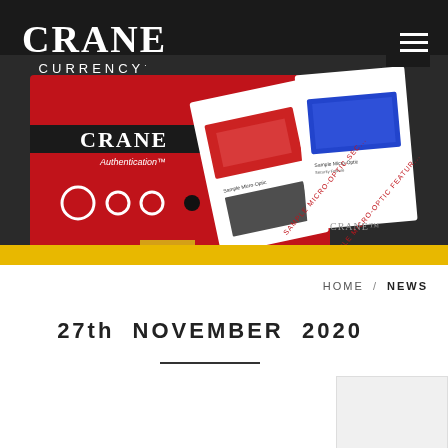[Figure (photo): Crane Currency website header with photo of Crane Authentication security card samples including micro-optic security features, red sample cards with Crane branding.]
CRANE CURRENCY
HOME / NEWS
27th NOVEMBER 2020